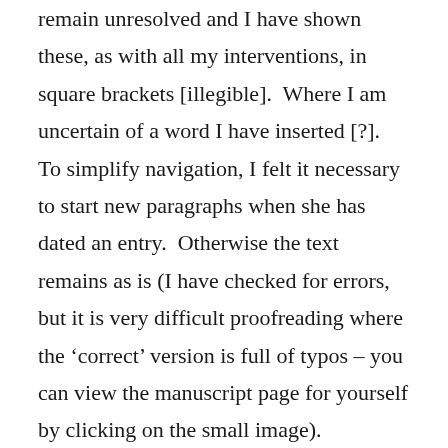remain unresolved and I have shown these, as with all my interventions, in square brackets [illegible].  Where I am uncertain of a word I have inserted [?].  To simplify navigation, I felt it necessary to start new paragraphs when she has dated an entry.  Otherwise the text remains as is (I have checked for errors, but it is very difficult proofreading where the ‘correct’ version is full of typos – you can view the manuscript page for yourself by clicking on the small image).